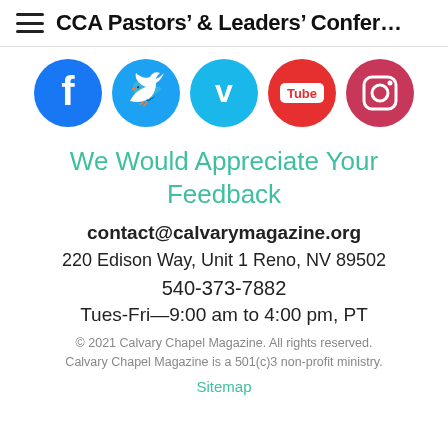CCA Pastors' & Leaders' Confer…
[Figure (illustration): Row of five social media icon circles: Facebook (blue, f), Twitter (blue, bird), Vimeo (blue, v), YouTube (red, Tube), Instagram (pink/red, camera)]
We Would Appreciate Your Feedback
contact@calvarymagazine.org
220 Edison Way, Unit 1 Reno, NV 89502
540-373-7882
Tues-Fri—9:00 am to 4:00 pm, PT
© 2021 Calvary Chapel Magazine. All rights reserved. Calvary Chapel Magazine is a 501(c)3 non-profit ministry.
Sitemap